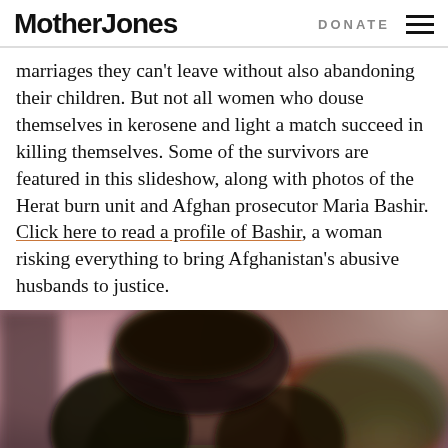Mother Jones | DONATE
marriages they can't leave without also abandoning their children. But not all women who douse themselves in kerosene and light a match succeed in killing themselves. Some of the survivors are featured in this slideshow, along with photos of the Herat burn unit and Afghan prosecutor Maria Bashir. Click here to read a profile of Bashir, a woman risking everything to bring Afghanistan's abusive husbands to justice.
[Figure (photo): Close-up blurred photo of a person (woman) with dark hair, blurred colorful background with pink/mauve and red/green tones]